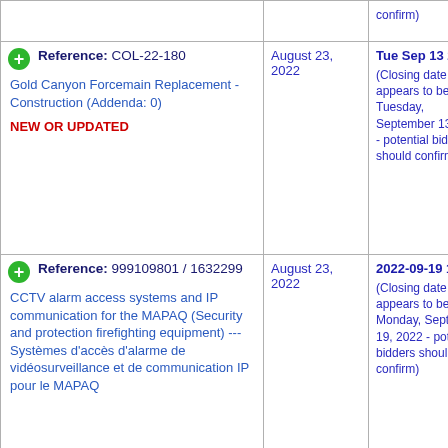| Reference / Description | Date | Closing |
| --- | --- | --- |
| (confirm) |  | confirm) |
| Reference: COL-22-180
Gold Canyon Forcemain Replacement - Construction (Addenda: 0)
NEW OR UPDATED | August 23, 2022 | Tue Sep 13 2022
(Closing date appears to be Tuesday, September 13, 2022 - potential bidders should confirm) |
| Reference: 999109801 / 1632299
CCTV alarm access systems and IP communication for the MAPAQ (Security and protection firefighting equipment) --- Systèmes d'accès d'alarme de vidéosurveillance et de communication IP pour le MAPAQ | August 23, 2022 | 2022-09-19 15 h
(Closing date appears to be Monday, September 19, 2022 - potential bidders should confirm) |